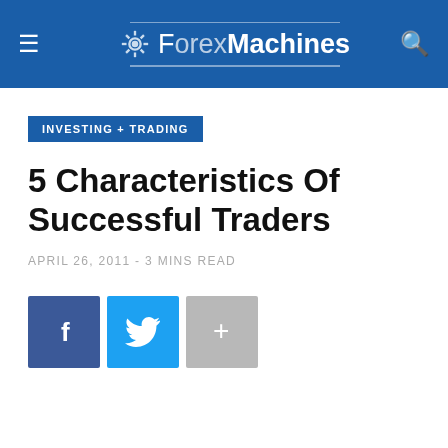ForexMachines
INVESTING + TRADING
5 Characteristics Of Successful Traders
APRIL 26, 2011 - 3 MINS READ